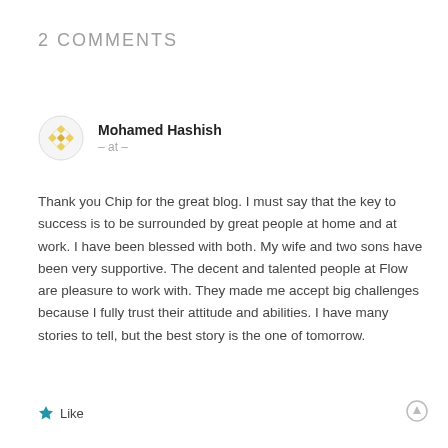2 COMMENTS
Mohamed Hashish
– at –
Thank you Chip for the great blog. I must say that the key to success is to be surrounded by great people at home and at work. I have been blessed with both. My wife and two sons have been very supportive. The decent and talented people at Flow are pleasure to work with. They made me accept big challenges because I fully trust their attitude and abilities. I have many stories to tell, but the best story is the one of tomorrow.
Like